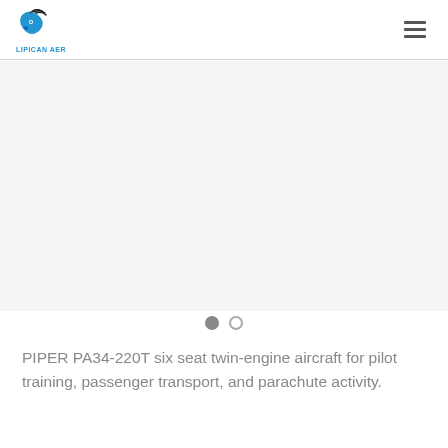LIPICAN AER
[Figure (photo): Blank/white image area representing a photo slot for the Piper PA34-220T aircraft (image not visible in source)]
PIPER PA34-220T six seat twin-engine aircraft for pilot training, passenger transport, and parachute activity.